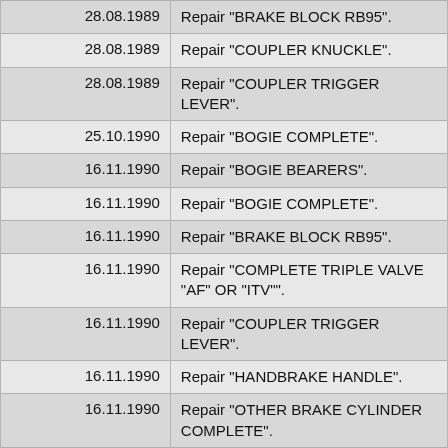| Date | Description |
| --- | --- |
| 28.08.1989 | Repair "BRAKE BLOCK RB95". |
| 28.08.1989 | Repair "COUPLER KNUCKLE". |
| 28.08.1989 | Repair "COUPLER TRIGGER LEVER". |
| 25.10.1990 | Repair "BOGIE COMPLETE". |
| 16.11.1990 | Repair "BOGIE BEARERS". |
| 16.11.1990 | Repair "BOGIE COMPLETE". |
| 16.11.1990 | Repair "BRAKE BLOCK RB95". |
| 16.11.1990 | Repair "COMPLETE TRIPLE VALVE "AF" OR "ITV"". |
| 16.11.1990 | Repair "COUPLER TRIGGER LEVER". |
| 16.11.1990 | Repair "HANDBRAKE HANDLE". |
| 16.11.1990 | Repair "OTHER BRAKE CYLINDER COMPLETE". |
| 16.11.1990 | Repair "STEP". |
| 06.02.1991 | Repair "AIR BRAKE SYSTEM COMPLETE". |
| 06.02.1991 | Repair "BOGIE BRAKE RIGGING, LEVERS & RODS". |
| 06.02.1991 | Repair "COMPLETE TRIPLE VALVE |